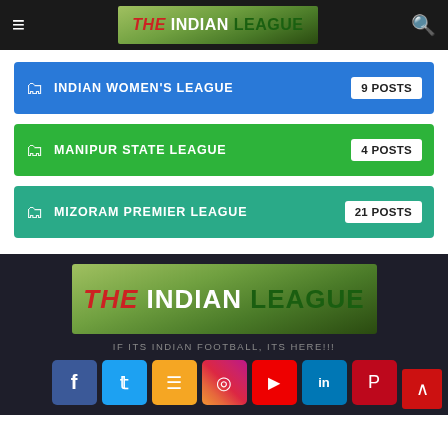THE INDIAN LEAGUE
INDIAN WOMEN'S LEAGUE — 9 POSTS
MANIPUR STATE LEAGUE — 4 POSTS
MIZORAM PREMIER LEAGUE — 21 POSTS
[Figure (logo): The Indian League logo in footer — red THE, white INDIAN, green LEAGUE on green/dark background]
IF ITS INDIAN FOOTBALL, ITS HERE!!!
Social media icons: Facebook, Twitter, RSS, Instagram, YouTube, LinkedIn, Pinterest